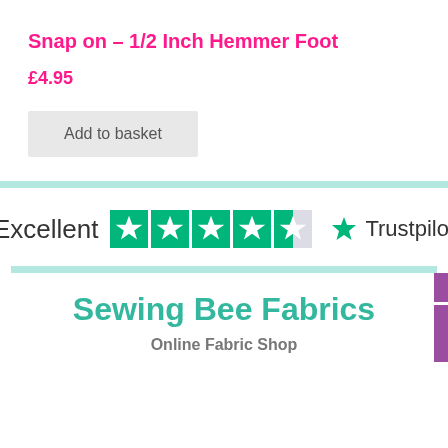Snap on – 1/2 Inch Hemmer Foot
£4.95
Add to basket
[Figure (logo): Trustpilot rating banner showing 'Excellent' with 4.5 green stars and Trustpilot logo]
Sewing Bee Fabrics
Online Fabric Shop